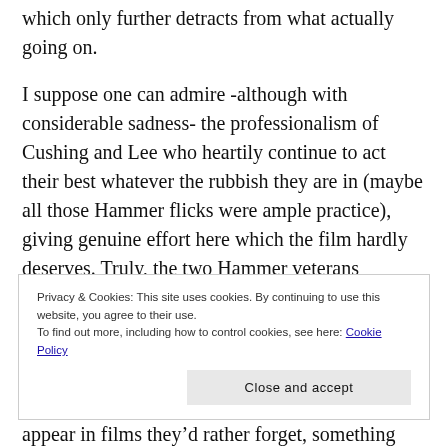which only further detracts from what actually going on.
I suppose one can admire -although with considerable sadness- the professionalism of Cushing and Lee who heartily continue to act their best whatever the rubbish they are in (maybe all those Hammer flicks were ample practice), giving genuine effort here which the film hardly deserves. Truly, the two Hammer veterans deserved much better and its such a pity that they
Privacy & Cookies: This site uses cookies. By continuing to use this website, you agree to their use.
To find out more, including how to control cookies, see here: Cookie Policy
appear in films they'd rather forget, something